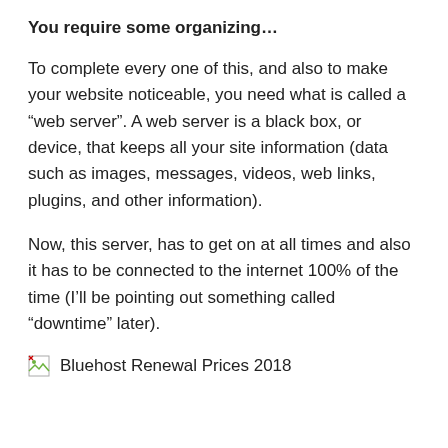You require some organizing…
To complete every one of this, and also to make your website noticeable, you need what is called a “web server”. A web server is a black box, or device, that keeps all your site information (data such as images, messages, videos, web links, plugins, and other information).
Now, this server, has to get on at all times and also it has to be connected to the internet 100% of the time (I’ll be pointing out something called “downtime” later).
[Figure (other): Broken image placeholder with alt text: Bluehost Renewal Prices 2018]